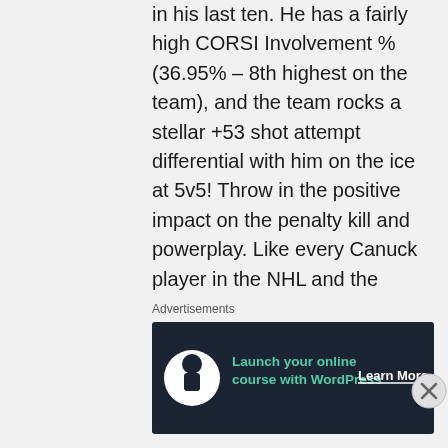in his last ten. He has a fairly high CORSI Involvement % (36.95% – 8th highest on the team), and the team rocks a stellar +53 shot attempt differential with him on the ice at 5v5! Throw in the positive impact on the penalty kill and powerplay. Like every Canuck player in the NHL and the pipeline, he's prone to dumb giveaways and controller disconnected moments. But give him a shot! Tyler Motte, Matthew Highmore, and Juho Lammikko aren't going to be Canucks forever, so why not!?
PDG tied Sheldon Dries with six shots on
Advertisements
[Figure (other): Advertisement banner: dark navy background, circular white icon with tree/person silhouette, green text 'Launch your online course with WordPress', white 'Learn More' button with underline]